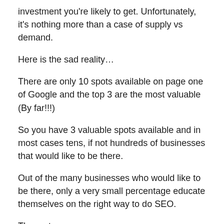investment you're likely to get. Unfortunately, it's nothing more than a case of supply vs demand.
Here is the sad reality…
There are only 10 spots available on page one of Google and the top 3 are the most valuable (By far!!!)
So you have 3 valuable spots available and in most cases tens, if not hundreds of businesses that would like to be there.
Out of the many businesses who would like to be there, only a very small percentage educate themselves on the right way to do SEO.
The rest…
Well they just pay whatever the going rate is without any